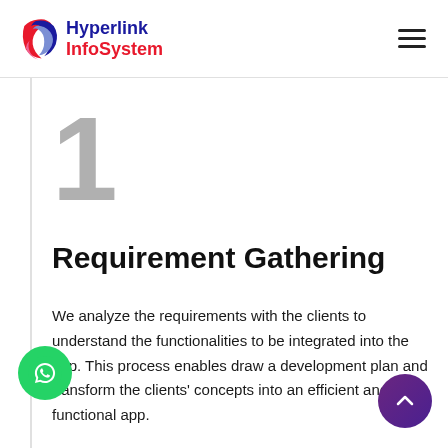Hyperlink InfoSystem
[Figure (logo): Hyperlink InfoSystem logo with pink/blue swirl icon and text 'Hyperlink' in navy blue and 'InfoSystem' in red]
Requirement Gathering
We analyze the requirements with the clients to understand the functionalities to be integrated into the app. This process enables draw a development plan and transform the clients' concepts into an efficient and functional app.